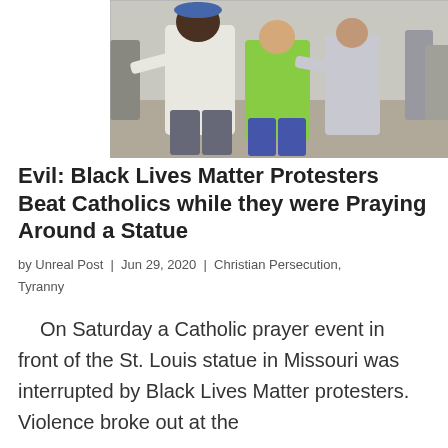[Figure (photo): Outdoor scene showing people in a physical altercation at a protest. A man in a white t-shirt and blue hat is holding another man in a green shirt, with other people visible in the background on what appears to be a plaza or boardwalk.]
Evil: Black Lives Matter Protesters Beat Catholics while they were Praying Around a Statue
by Unreal Post  |  Jun 29, 2020  |  Christian Persecution, Tyranny
On Saturday a Catholic prayer event in front of the St. Louis statue in Missouri was interrupted by Black Lives Matter protesters. Violence broke out at the